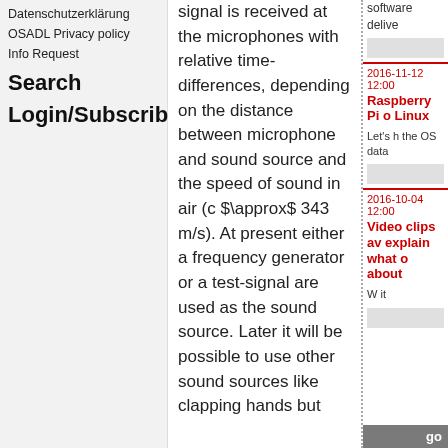Datenschutzerklärung
OSADL Privacy policy
Info Request
Search
Login/Subscribe
signal is received at the microphones with relative time-differences, depending on the distance between microphone and sound source and the speed of sound in air (c $\approx$ 343 m/s). At present either a frequency generator or a test-signal are used as the sound source. Later it will be possible to use other sound sources like clapping hands but
software delive
2016-11-12 12:00
Raspberry Pi o Linux
Let's h the OS data
2016-10-04 12:00
Video clips av explain what o about
W it
go